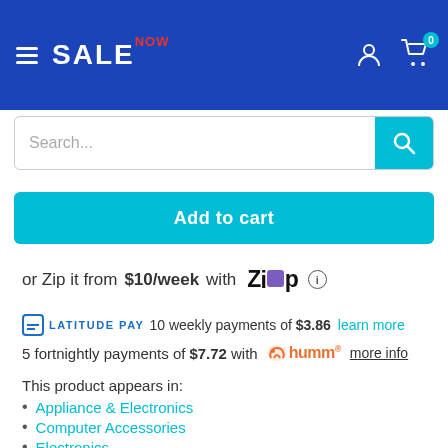SALE NOW — navigation header with search bar
Add to cart
or Zip it from $10/week with Zip
LATITUDE PAY 10 weekly payments of $3.86 learn more
5 fortnightly payments of $7.72 with humm more info
This product appears in:
Appliance & Electronics
Computer Accessories
Electronics